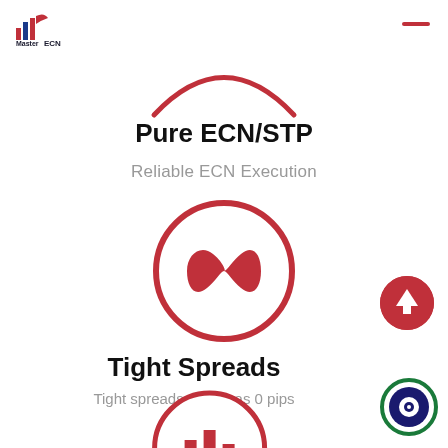[Figure (logo): MasterECN logo with bar chart icon and text]
[Figure (illustration): Red arc/smile shape at top, partially visible]
Pure ECN/STP
Reliable ECN Execution
[Figure (illustration): Red circle with infinity symbol inside]
Tight Spreads
Tight spreads as low as 0 pips
[Figure (illustration): Partially visible red circle with bar chart icon at bottom]
[Figure (illustration): Red circular scroll-to-top button with upward arrow]
[Figure (illustration): Green-bordered live chat button with eye/chat icon]